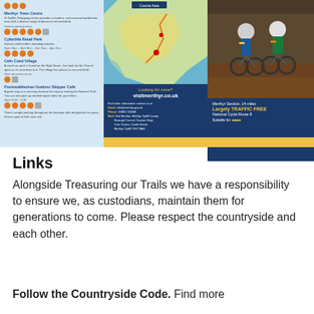[Figure (infographic): Cycling trail guide infographic showing a map of Merthyr area with location details on the left (Merthyr Town Centre, Cyfarthfa Retail Park, Cefn Coed Village, Pontneddfechan Outdoor Skipper Cafe), a map in the centre, contact information panel with visitmerthyr.co.uk, a photo of two cyclists on a trail, and route information: Merthyr Section 14 miles, Largely TRAFFIC FREE, National Cycle Route 8, Suitable for various riders.]
Links
Alongside Treasuring our Trails we have a responsibility to ensure we, as custodians, maintain them for generations to come. Please respect the countryside and each other.
Follow the Countryside Code.  Find more